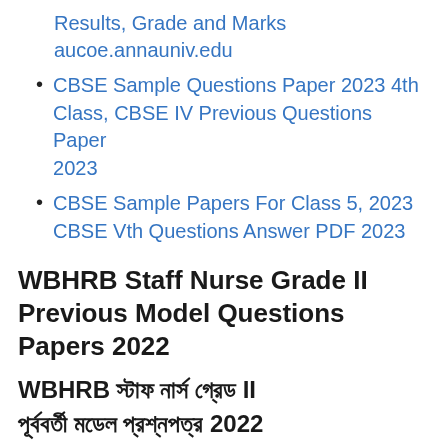Results, Grade and Marks aucoe.annauniv.edu
CBSE Sample Questions Paper 2023 4th Class, CBSE IV Previous Questions Paper 2023
CBSE Sample Papers For Class 5, 2023 CBSE Vth Questions Answer PDF 2023
WBHRB Staff Nurse Grade II Previous Model Questions Papers 2022
WBHRB স্টাফ নার্স গ্রেড II পূর্ববর্তী মডেল প্রশ্নপত্র 2022